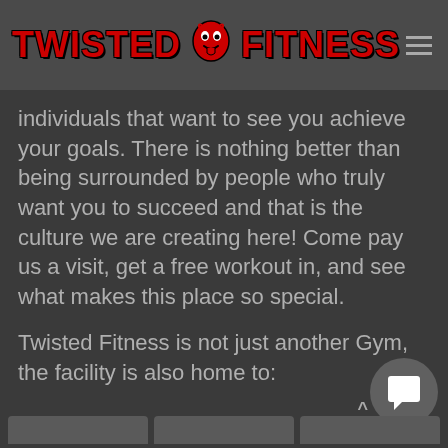TWISTED FITNESS
individuals that want to see you achieve your goals. There is nothing better than being surrounded by people who truly want you to succeed and that is the culture we are creating here! Come pay us a visit, get a free workout in, and see what makes this place so special.
Twisted Fitness is not just another Gym, the facility is also home to: